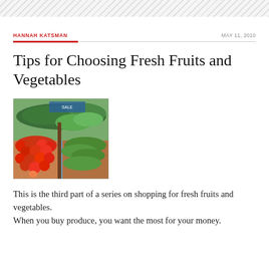HANNAH KATSMAN
MAY 11, 2010
Tips for Choosing Fresh Fruits and Vegetables
[Figure (photo): Outdoor market stall with tomatoes and green vegetables on display in wooden crates]
This is the third part of a series on shopping for fresh fruits and vegetables.
When you buy produce, you want the most for your money.